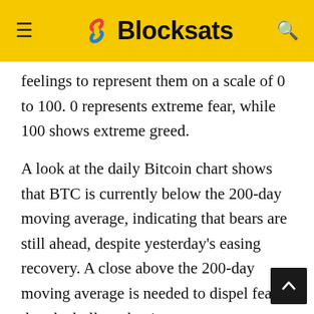Blocksats
feelings to represent them on a scale of 0 to 100. 0 represents extreme fear, while 100 shows extreme greed.
A look at the daily Bitcoin chart shows that BTC is currently below the 200-day moving average, indicating that bears are still ahead, despite yesterday's easing recovery. A close above the 200-day moving average is needed to dispel fears that the bull market is over.
BTC is trying to take advantage of yesterday's gains and work its way above the 200-day moving average. But until that happens, from a technical